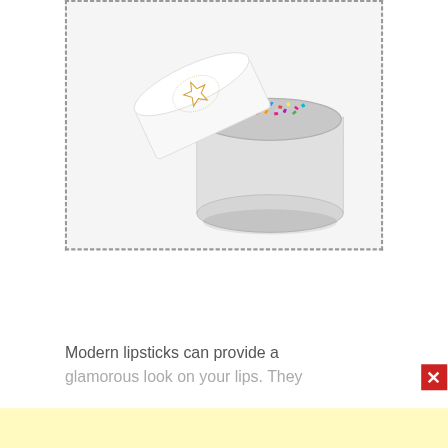[Figure (photo): An open cosmetic glitter jar with white lid showing a star logo, filled with multicolored chunky glitter pieces. The jar is open, lid slightly tilted. Set against white background. Surrounded by a dashed border rectangle.]
Modern lipsticks can provide a glamorous look on your lips. They